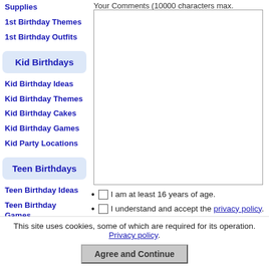Supplies
1st Birthday Themes
1st Birthday Outfits
Kid Birthdays
Kid Birthday Ideas
Kid Birthday Themes
Kid Birthday Cakes
Kid Birthday Games
Kid Party Locations
Teen Birthdays
Teen Birthday Ideas
Teen Birthday Games
Teen Birthday
Your Comments (10000 characters max.
I am at least 16 years of age.
I understand and accept the privacy policy.
I understand that you will display my commer
Submit Comment
This site uses cookies, some of which are required for its operation. Privacy policy.
Agree and Continue